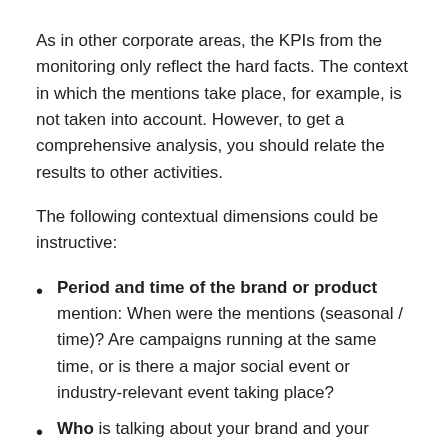As in other corporate areas, the KPIs from the monitoring only reflect the hard facts. The context in which the mentions take place, for example, is not taken into account. However, to get a comprehensive analysis, you should relate the results to other activities.
The following contextual dimensions could be instructive:
Period and time of the brand or product mention: When were the mentions (seasonal / time)? Are campaigns running at the same time, or is there a major social event or industry-relevant event taking place?
Who is talking about your brand and your products? Is it your employees, such as members of the public (board of directors, speakers, etc.) or